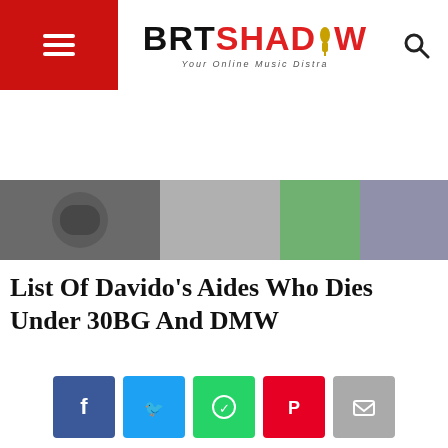BRTShadow — Your Online Music Distra
[Figure (photo): Hero image strip showing a person with headphones and colorful objects]
[Figure (infographic): Social share buttons: Facebook, Twitter, WhatsApp, Pinterest, Email]
List Of Davido’s Aides Who Dies Under 30BG And DMW